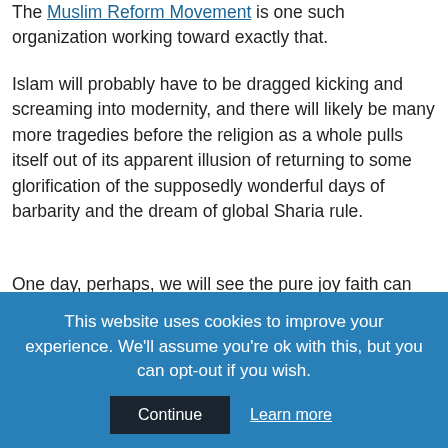The Muslim Reform Movement is one such organization working toward exactly that.
Islam will probably have to be dragged kicking and screaming into modernity, and there will likely be many more tragedies before the religion as a whole pulls itself out of its apparent illusion of returning to some glorification of the supposedly wonderful days of barbarity and the dream of global Sharia rule.
One day, perhaps, we will see the pure joy faith can provide when you are happy with what you have and do not feel the need to hand out candies to celebrate taking the lives of others who are happy with something else. (I wish this image was just in celebration of your Prophet and not in commemoration of the horror. This shows what religion should be – a celebration
This website uses cookies to improve your experience. We'll assume you're ok with this, but you can opt-out if you wish.